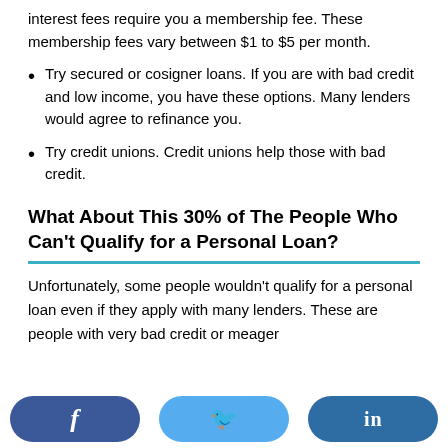interest fees require you a membership fee. These membership fees vary between $1 to $5 per month.
Try secured or cosigner loans. If you are with bad credit and low income, you have these options. Many lenders would agree to refinance you.
Try credit unions. Credit unions help those with bad credit.
What About This 30% of The People Who Can't Qualify for a Personal Loan?
Unfortunately, some people wouldn't qualify for a personal loan even if they apply with many lenders. These are people with very bad credit or meager